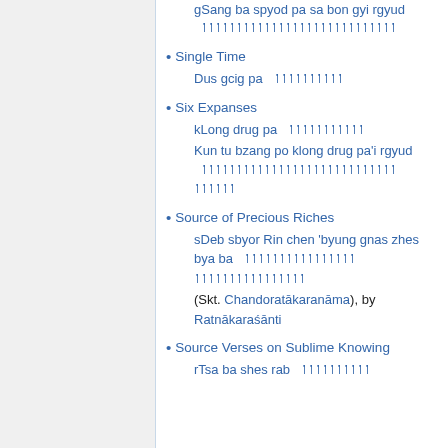Secret Conduct: Tantra of the Potential
gSang ba spyod pa sa bon gyi rgyud [Tibetan script]
Single Time
Dus gcig pa [Tibetan script]
Six Expanses
kLong drug pa [Tibetan script]
Kun tu bzang po klong drug pa'i rgyud [Tibetan script]
Source of Precious Riches
sDeb sbyor Rin chen 'byung gnas zhes bya ba [Tibetan script] (Skt. Chandoratākaranāma), by Ratnākaraśānti
Source Verses on Sublime Knowing
rTsa ba shes rab [Tibetan script]